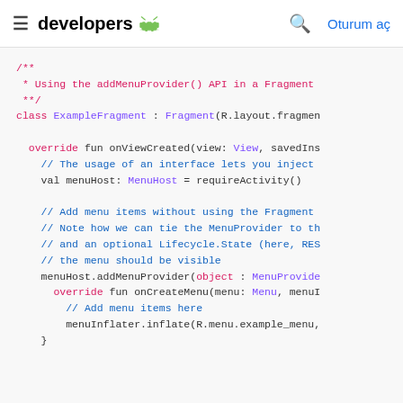≡  developers 🤖   🔍  Oturum aç
[Figure (screenshot): Kotlin code snippet showing usage of addMenuProvider() API in a Fragment, with syntax highlighting. Shows class ExampleFragment extending Fragment, overriding onViewCreated, getting menuHost, and calling menuHost.addMenuProvider with an anonymous object implementing MenuProvider.]